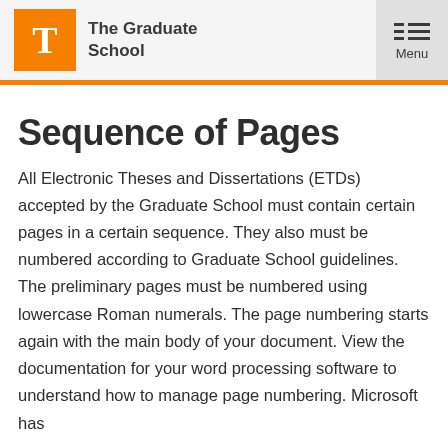The Graduate School
Sequence of Pages
All Electronic Theses and Dissertations (ETDs) accepted by the Graduate School must contain certain pages in a certain sequence. They also must be numbered according to Graduate School guidelines. The preliminary pages must be numbered using lowercase Roman numerals. The page numbering starts again with the main body of your document. View the documentation for your word processing software to understand how to manage page numbering. Microsoft has